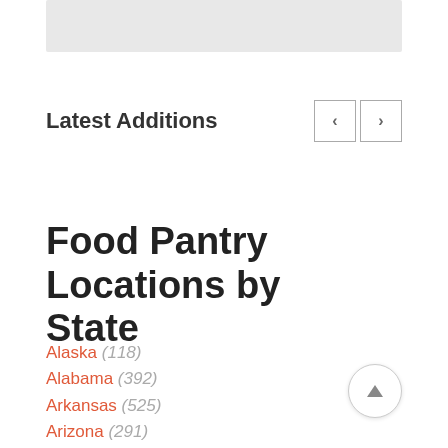[Figure (other): Gray banner/image placeholder bar at the top of the page]
Latest Additions
Food Pantry Locations by State
Alaska (118)
Alabama (392)
Arkansas (525)
Arizona (291)
California (718)
Colorado (241)
Connecticut (416)
District of Columbia (29)